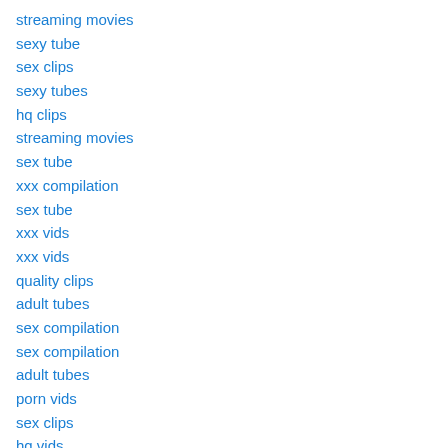streaming movies
sexy tube
sex clips
sexy tubes
hq clips
streaming movies
sex tube
xxx compilation
sex tube
xxx vids
xxx vids
quality clips
adult tubes
sex compilation
sex compilation
adult tubes
porn vids
sex clips
hq vids